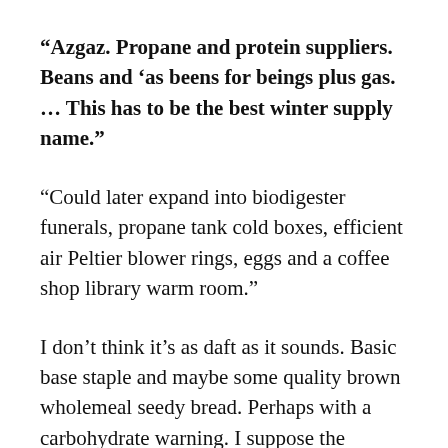“Azgaz. Propane and protein suppliers. Beans and ‘as beens for beings plus gas. … This has to be the best winter supply name.”
“Could later expand into biodigester funerals, propane tank cold boxes, efficient air Peltier blower rings, eggs and a coffee shop library warm room.”
I don’t think it’s as daft as it sounds. Basic base staple and maybe some quality brown wholemeal seedy bread. Perhaps with a carbohydrate warning. I suppose the funniest part of the vision dream was the “Posh beenegi”. Not so much the content, but the